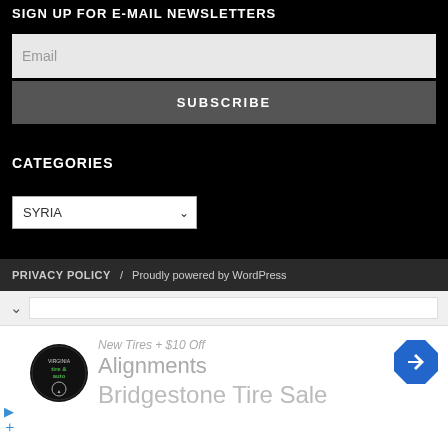SIGN UP FOR E-MAIL NEWSLETTERS
Email
SUBSCRIBE
CATEGORIES
SYRIA
PRIVACY POLICY  /  Proudly powered by WordPress
[Figure (screenshot): Advertisement banner for Virginia Tire & Auto showing 'New Tires + $10 Off Alignments' and 'Bridgestone Tire Sale' with company logo and blue arrow navigation icon]
New Tires + $10 Off
Alignments
Bridgestone Tire Sale